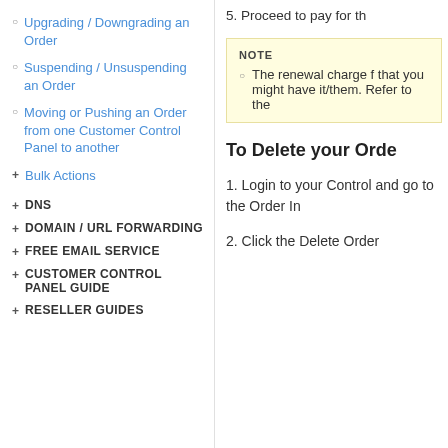Upgrading / Downgrading an Order
Suspending / Unsuspending an Order
Moving or Pushing an Order from one Customer Control Panel to another
+ Bulk Actions
+ DNS
+ DOMAIN / URL FORWARDING
+ FREE EMAIL SERVICE
+ CUSTOMER CONTROL PANEL GUIDE
+ RESELLER GUIDES
5. Proceed to pay for th
NOTE
The renewal charge f that you might have it/them. Refer to the
To Delete your Orde
1. Login to your Control and go to the Order In
2. Click the Delete Order